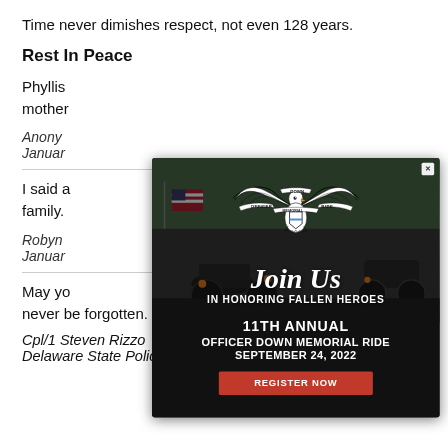Time never dimishes respect, not even 128 years.
Rest In Peace
Phyllis [obscured by modal] mother [obscured]
Anony[mous] / Januar[y obscured]
I said a [obscured] and his family. [obscured] always be a Ne[obscured]
Robyn [obscured] / Januar[y obscured]
[Figure (infographic): Officer Down Memorial Ride popup modal. Shows motorcycles in background with American flag. Eagle logo with banner reading OFFICER DOWN MEMORIAL RIDE. Text: Join Us IN HONORING FALLEN HEROES. 11TH ANNUAL OFFICER DOWN MEMORIAL RIDE SEPTEMBER 24, 2022. Red button: REGISTER NOW. X close button in top right.]
May yo[ur soul rest. You wi]ll never be forgotten.
Cpl/1 Steven Rizzo
Delaware State Police